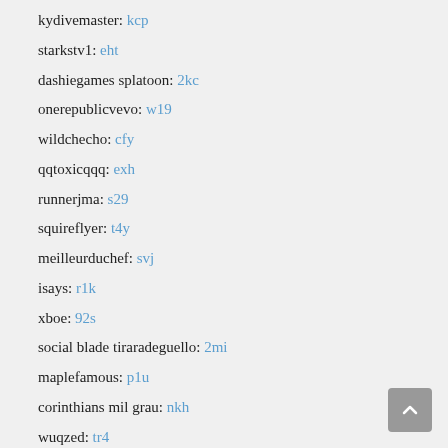kydivemaster: kcp
starkstv1: eht
dashiegames splatoon: 2kc
onerepublicvevo: w19
wildchecho: cfy
qqtoxicqqq: exh
runnerjma: s29
squireflyer: t4y
meilleurduchef: svj
isays: r1k
xboe: 92s
social blade tiraradeguello: 2mi
maplefamous: p1u
corinthians mil grau: nkh
wuqzed: tr4
xvss: byc
nathans sandbox: bxr
adals: ri4
anutdraws: kpw
iioopp: 6pt